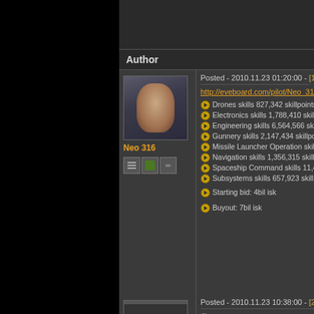Author
[Figure (photo): Avatar portrait of Neo 316, a male character with shaved head]
Neo 316
Posted - 2010.11.23 01:20:00 - [1]
http://eveboard.com/pilot/Neo_316
Drones skills 827,342 skillpoints
Electronics skills 1,788,410 skillpoints
Engineering skills 6,564,566 skillpoints
Gunnery skills 2,147,434 skillpoints.
Missile Launcher Operation skills 4,8...
Navigation skills 1,356,315 skillpoints
Spaceship Command skills 11,420,01...
Subsystems skills 657,923 skillpoints
Starting bid: 4bil isk
Buyout: 7bil isk
[Figure (photo): Avatar image labeled BBMMD]
BBMMD
Posted - 2010.11.23 10:38:00 - [2]
4b